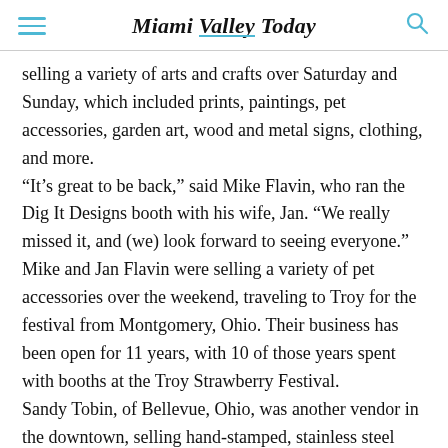Miami Valley Today
selling a variety of arts and crafts over Saturday and Sunday, which included prints, paintings, pet accessories, garden art, wood and metal signs, clothing, and more.
“It’s great to be back,” said Mike Flavin, who ran the Dig It Designs booth with his wife, Jan. “We really missed it, and (we) look forward to seeing everyone.” Mike and Jan Flavin were selling a variety of pet accessories over the weekend, traveling to Troy for the festival from Montgomery, Ohio. Their business has been open for 11 years, with 10 of those years spent with booths at the Troy Strawberry Festival.
Sandy Tobin, of Bellevue, Ohio, was another vendor in the downtown, selling hand-stamped, stainless steel jewelry. Tobin also said it was great to be back.